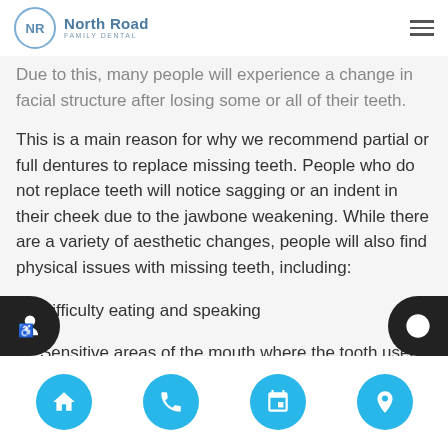North Road Family Dental
Due to this, many people will experience a change in facial structure after losing some or all of their teeth.
This is a main reason for why we recommend partial or full dentures to replace missing teeth. People who do not replace teeth will notice sagging or an indent in their cheek due to the jawbone weakening. While there are a variety of aesthetic changes, people will also find physical issues with missing teeth, including:
Difficulty eating and speaking
Sensitive areas of the mouth where the tooth used to be